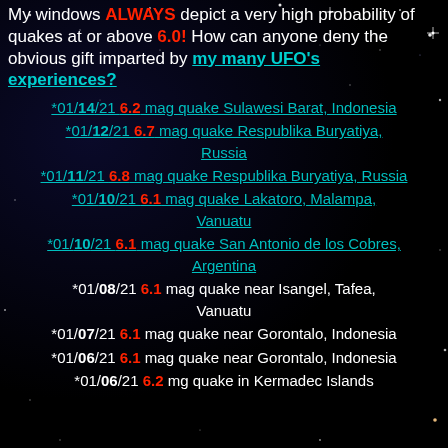My windows ALWAYS depict a very high probability of quakes at or above 6.0! How can anyone deny the obvious gift imparted by my many UFO's experiences?
*01/14/21 6.2 mag quake Sulawesi Barat, Indonesia
*01/12/21 6.7 mag quake Respublika Buryatiya, Russia
*01/11/21 6.8 mag quake Respublika Buryatiya, Russia
*01/10/21 6.1 mag quake Lakatoro, Malampa, Vanuatu
*01/10/21 6.1 mag quake San Antonio de los Cobres, Argentina
*01/08/21 6.1 mag quake near Isangel, Tafea, Vanuatu
*01/07/21 6.1 mag quake near Gorontalo, Indonesia
*01/06/21 6.1 mag quake near Gorontalo, Indonesia
*01/06/21 6.2 mg quake in Kermadec Islands